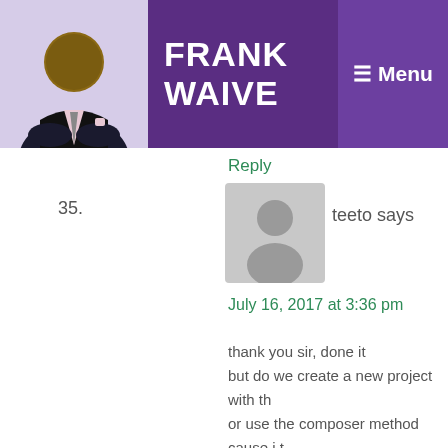FRANK WAIVE — Menu
Reply
35. teeto says
July 16, 2017 at 3:36 pm
thank you sir, done it
but do we create a new project with th
or use the composer method cause i t
new' and it didn't work
Reply
Leave a Reply
Your email address will not be published. Required f